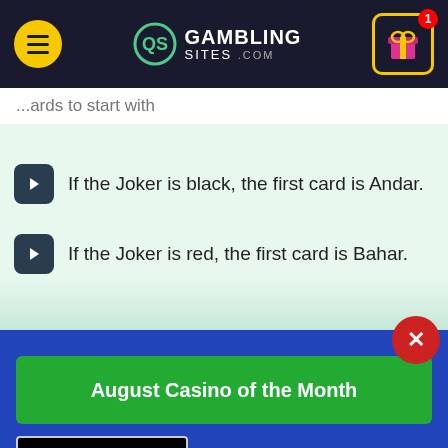GambingSites.com
...ards to start with
If the Joker is black, the first card is Andar.
If the Joker is red, the first card is Bahar.
August Casino of the Month
[Figure (logo): Wild Casino logo - black background with green WILD text and white CASINO text]
Welcome Bonus
250% up to $5,000
VISIT SITE ▶